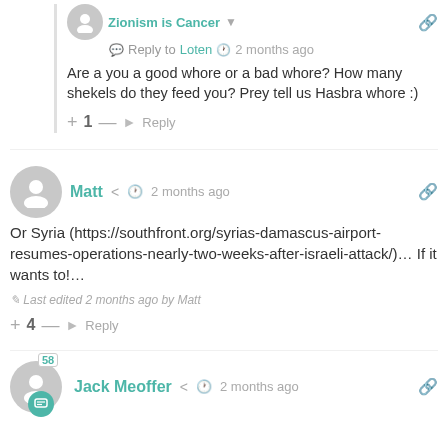Reply to Loten  2 months ago
Are a you a good whore or a bad whore? How many shekels do they feed you? Prey tell us Hasbra whore :)
+ 1 — Reply
Matt  2 months ago
Or Syria (https://southfront.org/syrias-damascus-airport-resumes-operations-nearly-two-weeks-after-israeli-attack/)… If it wants to!…
Last edited 2 months ago by Matt
+ 4 — Reply
Jack Meoffer  2 months ago